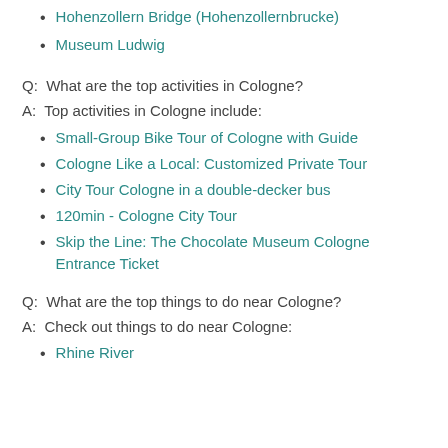Hohenzollern Bridge (Hohenzollernbrucke)
Museum Ludwig
Q:  What are the top activities in Cologne?
A:  Top activities in Cologne include:
Small-Group Bike Tour of Cologne with Guide
Cologne Like a Local: Customized Private Tour
City Tour Cologne in a double-decker bus
120min - Cologne City Tour
Skip the Line: The Chocolate Museum Cologne Entrance Ticket
Q:  What are the top things to do near Cologne?
A:  Check out things to do near Cologne:
Rhine River